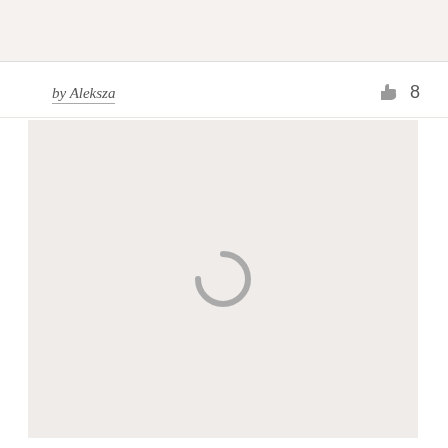[Figure (screenshot): Top gray banner area]
by Aleksza
[Figure (other): Thumbs up icon with count 8]
[Figure (other): Large light gray content area with a loading spinner icon in the center]